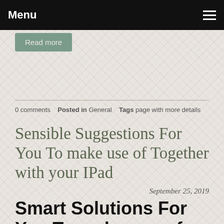Menu
Read more
0 comments   Posted in General   Tags page with more details
Sensible Suggestions For You To make use of Together with your IPad
September 25, 2019
Smart Solutions For You To make use of With your IPad